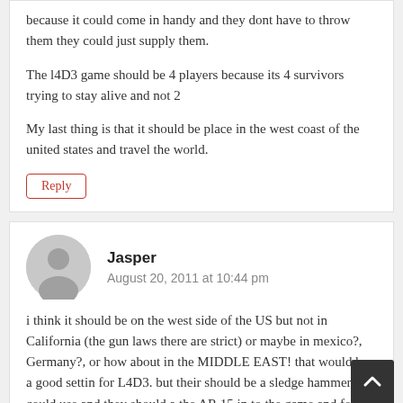because it could come in handy and they dont have to throw them they could just supply them.
The l4D3 game should be 4 players because its 4 survivors trying to stay alive and not 2
My last thing is that it should be place in the west coast of the united states and travel the world.
Reply
Jasper
August 20, 2011 at 10:44 pm
i think it should be on the west side of the US but not in California (the gun laws there are strict) or maybe in mexico?, Germany?, or how about in the MIDDLE EAST! that would be a good settin for L4D3. but their should be a sledge hammer you could use and they should a the AR 15 in to the game and for the SMG's a AK-74U